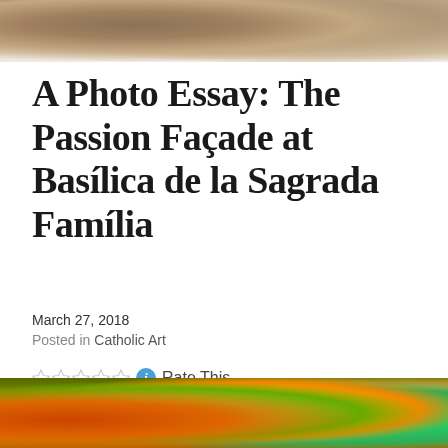[Figure (photo): Top portion of a photo showing architectural or sculptural detail in warm beige/brown tones, partially cropped at top of page]
A Photo Essay: The Passion Façade at Basílica de la Sagrada Família
March 27, 2018
Posted in Catholic Art
Rate This
[Figure (photo): Bottom portion of a photo showing colorful sculptural details in green, orange, teal tones, partially cropped at bottom of page]